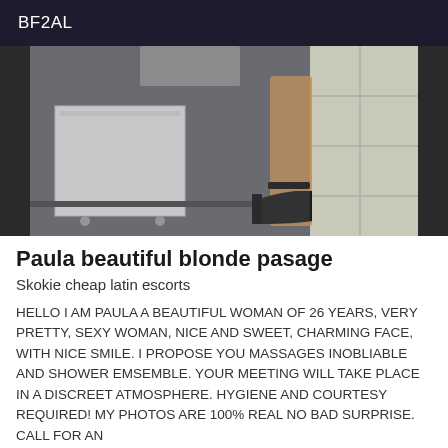BF2AL
[Figure (photo): Photo showing a woman's legs wearing black high heel shoes, standing on a grey carpet next to a white rolling storage unit, with white tile floor visible to the right.]
Paula beautiful blonde pasage
Skokie cheap latin escorts
HELLO I AM PAULA A BEAUTIFUL WOMAN OF 26 YEARS, VERY PRETTY, SEXY WOMAN, NICE AND SWEET, CHARMING FACE, WITH NICE SMILE. I PROPOSE YOU MASSAGES INOBLIABLE AND SHOWER EMSEMBLE. YOUR MEETING WILL TAKE PLACE IN A DISCREET ATMOSPHERE. HYGIENE AND COURTESY REQUIRED! MY PHOTOS ARE 100% REAL NO BAD SURPRISE. CALL FOR AN